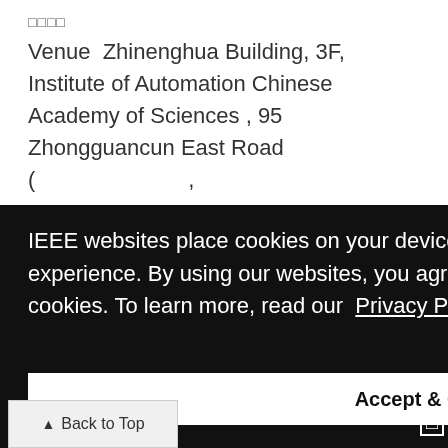□□□□
Venue  Zhinenghua Building, 3F, Institute of Automation Chinese Academy of Sciences , 95 Zhongguancun East Road (                         ,
...
IEEE websites place cookies on your device to give you the best user experience. By using our websites, you agree to the placement of these cookies. To learn more, read our  Privacy Policy.
Accept & Close
↑ Back to Top